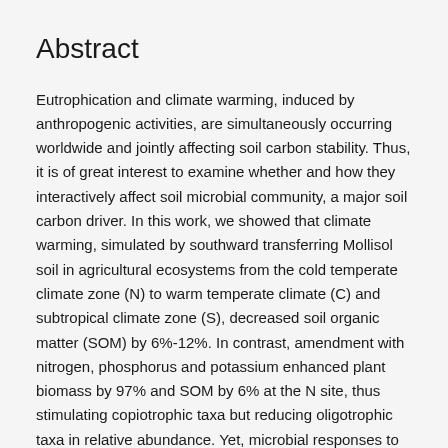Abstract
Eutrophication and climate warming, induced by anthropogenic activities, are simultaneously occurring worldwide and jointly affecting soil carbon stability. Thus, it is of great interest to examine whether and how they interactively affect soil microbial community, a major soil carbon driver. In this work, we showed that climate warming, simulated by southward transferring Mollisol soil in agricultural ecosystems from the cold temperate climate zone (N) to warm temperate climate (C) and subtropical climate zone (S), decreased soil organic matter (SOM) by 6%-12%. In contrast, amendment with nitrogen, phosphorus and potassium enhanced plant biomass by 97% and SOM by 6% at the N site, thus stimulating copiotrophic taxa but reducing oligotrophic taxa in relative abundance. Yet, microbial responses to nutrient amendment were